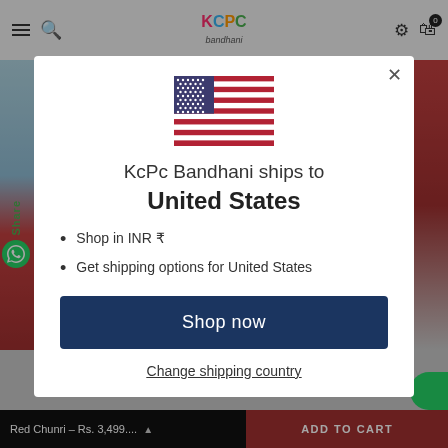KCPC Bandhani - navigation bar with hamburger, search, logo, settings, cart (0)
[Figure (screenshot): US flag emoji/illustration centered in modal]
KcPc Bandhani ships to
United States
Shop in INR ₹
Get shipping options for United States
Shop now
Change shipping country
Red Chunri – Rs. 3,499.... ADD TO CART